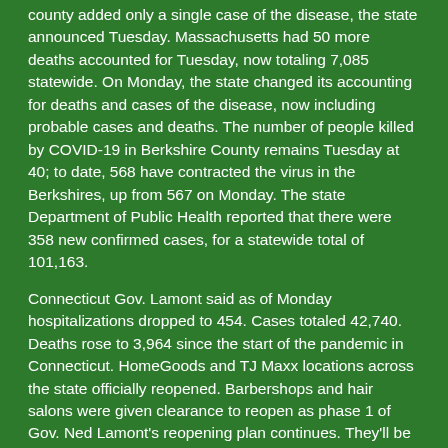county added only a single case of the disease, the state announced Tuesday. Massachusetts had 50 more deaths accounted for Tuesday, now totaling 7,085 statewide. On Monday, the state changed its accounting for deaths and cases of the disease, now including probable cases and deaths. The number of people killed by COVID-19 in Berkshire County remains Tuesday at 40; to date, 568 have contracted the virus in the Berkshires, up from 567 on Monday. The state Department of Public Health reported that there were 358 new confirmed cases, for a statewide total of 101,163.
Connecticut Gov. Lamont said as of Monday hospitalizations dropped to 454. Cases totaled 42,740. Deaths rose to 3,964 since the start of the pandemic in Connecticut. HomeGoods and TJ Maxx locations across the state officially reopened. Barbershops and hair salons were given clearance to reopen as phase 1 of Gov. Ned Lamont's reopening plan continues. They'll be appointment-only and without waiting areas. The Foxwoods and Mohegan Sun Casinos announced that Monday would also be their return, but with social distancing and guest limitatio
COVID-91 Case Report Litchfield County